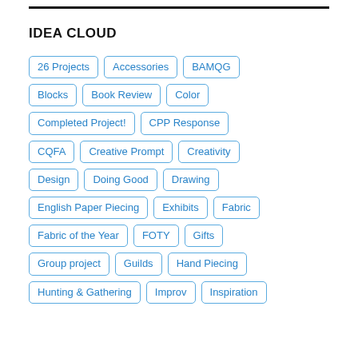IDEA CLOUD
26 Projects
Accessories
BAMQG
Blocks
Book Review
Color
Completed Project!
CPP Response
CQFA
Creative Prompt
Creativity
Design
Doing Good
Drawing
English Paper Piecing
Exhibits
Fabric
Fabric of the Year
FOTY
Gifts
Group project
Guilds
Hand Piecing
Hunting & Gathering
Improv
Inspiration